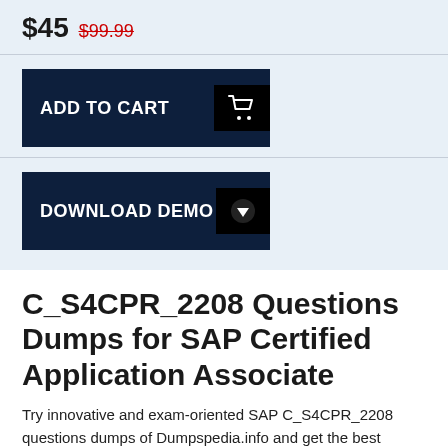$45 $99.99
[Figure (other): ADD TO CART button with shopping cart icon]
[Figure (other): DOWNLOAD DEMO button with download icon]
C_S4CPR_2208 Questions Dumps for SAP Certified Application Associate
Try innovative and exam-oriented SAP C_S4CPR_2208 questions dumps of Dumpspedia.info and get the best career-oriented IT SAP Certified Application Associate certification with money back guarantee. It has never been so easier to ace an SAP Certified